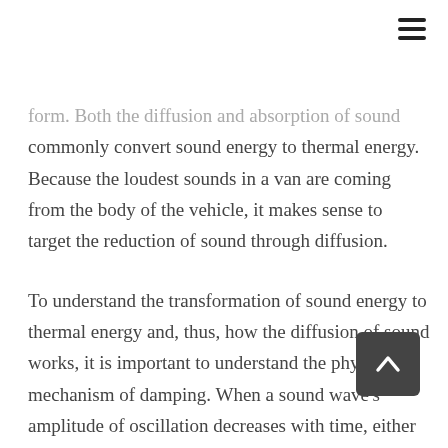[Figure (other): Hamburger menu icon (three horizontal lines) in top-right corner]
form. Both the diffusion and absorption of sound commonly convert sound energy to thermal energy. Because the loudest sounds in a van are coming from the body of the vehicle, it makes sense to target the reduction of sound through diffusion.
To understand the transformation of sound energy to thermal energy and, thus, how the diffusion of sound works, it is important to understand the physical mechanism of damping. When a sound wave's amplitude of oscillation decreases with time, either due to friction or other form of resistance, the wave is said to be damped. In the case of sound diffusion in a
[Figure (other): Scroll-to-top button: dark rounded square with upward chevron/arrow icon]